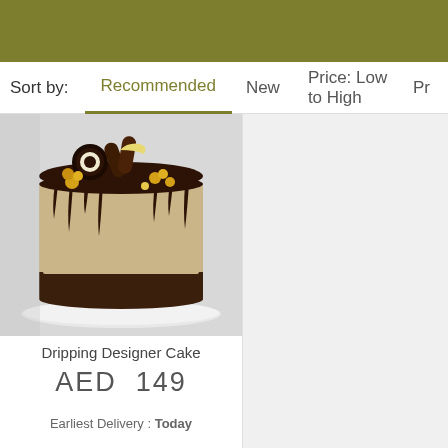Sort by:  Recommended  New  Price: Low to High  Pr
[Figure (photo): Photo of a Dripping Designer Cake — a tall round cake with chocolate drip ganache over cream frosting, topped with Oreo cookies, chocolate rolls, and golden caramel popcorn decorations, on a white plate.]
Dripping Designer Cake
AED  149
Earliest Delivery : Today